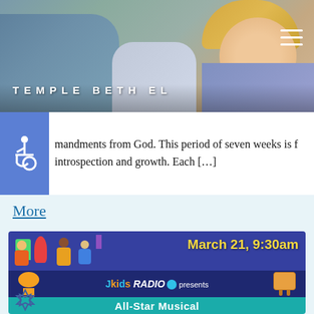[Figure (photo): Header photo showing people at a gathering, Temple Beth El website header with hamburger menu icon]
mandments from God. This period of seven weeks is f introspection and growth. Each [...]
More
[Figure (illustration): JKids Radio All-Star Musical Passover Seder event banner. Date: March 21, 9:30am. Shows animated children dancing with musical notes, a matzah character, and a challah character. Star of David logo at bottom left.]